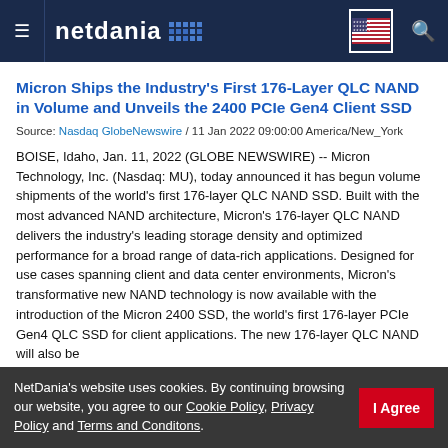netdania
Micron Ships the Industry's First 176-Layer QLC NAND in Volume and Unveils the 2400 PCIe Gen4 Client SSD
Source: Nasdaq GlobeNewswire / 11 Jan 2022 09:00:00 America/New_York
BOISE, Idaho, Jan. 11, 2022 (GLOBE NEWSWIRE) -- Micron Technology, Inc. (Nasdaq: MU), today announced it has begun volume shipments of the world's first 176-layer QLC NAND SSD. Built with the most advanced NAND architecture, Micron's 176-layer QLC NAND delivers the industry's leading storage density and optimized performance for a broad range of data-rich applications. Designed for use cases spanning client and data center environments, Micron's transformative new NAND technology is now available with the introduction of the Micron 2400 SSD, the world's first 176-layer PCIe Gen4 QLC SSD for client applications. The new 176-layer QLC NAND will also be
NetDania's website uses cookies. By continuing browsing our website, you agree to our Cookie Policy, Privacy Policy and Terms and Conditons.